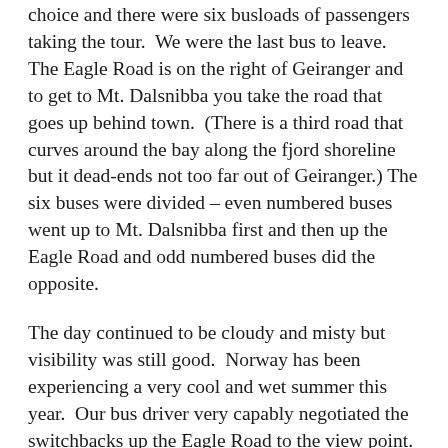choice and there were six busloads of passengers taking the tour. We were the last bus to leave. The Eagle Road is on the right of Geiranger and to get to Mt. Dalsnibba you take the road that goes up behind town. (There is a third road that curves around the bay along the fjord shoreline but it dead-ends not too far out of Geiranger.) The six buses were divided – even numbered buses went up to Mt. Dalsnibba first and then up the Eagle Road and odd numbered buses did the opposite.
The day continued to be cloudy and misty but visibility was still good. Norway has been experiencing a very cool and wet summer this year. Our bus driver very capably negotiated the switchbacks up the Eagle Road to the view point. All the passengers got off the bus and it continued to the top where it could turn around and pick us up for the drive down. From the viewpoint you could see the entire end of the fjord and look back the other way to view the Seven Sisters waterfall – of which only Four Sisters were flowing as it is late in the summer